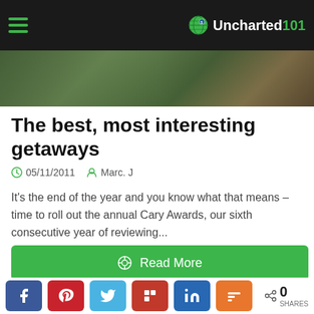Uncharted101
[Figure (photo): Nature/outdoor greenery hero image strip]
The best, most interesting getaways
05/11/2011   Marc. J
It's the end of the year and you know what that means – time to roll out the annual Cary Awards, our sixth consecutive year of reviewing...
Read More
Leave a Reply